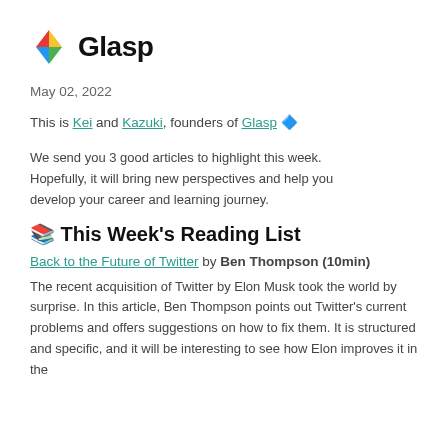[Figure (logo): Glasp logo: colorful diamond shape with red, yellow, green, blue quadrants, followed by bold text 'Glasp']
May 02, 2022
This is Kei and Kazuki, founders of Glasp 🔷
We send you 3 good articles to highlight this week. Hopefully, it will bring new perspectives and help you develop your career and learning journey.
📚 This Week's Reading List
Back to the Future of Twitter by Ben Thompson (10min)
The recent acquisition of Twitter by Elon Musk took the world by surprise. In this article, Ben Thompson points out Twitter's current problems and offers suggestions on how to fix them. It is structured and specific, and it will be interesting to see how Elon improves it in the